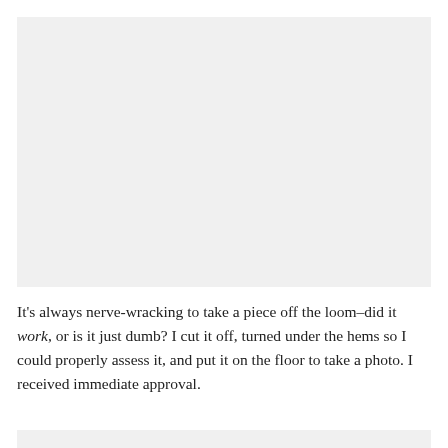[Figure (photo): A large light gray rectangular image placeholder occupying the upper portion of the page.]
It's always nerve-wracking to take a piece off the loom–did it work, or is it just dumb? I cut it off, turned under the hems so I could properly assess it, and put it on the floor to take a photo. I received immediate approval.
[Figure (photo): A partial light gray image placeholder at the bottom of the page.]